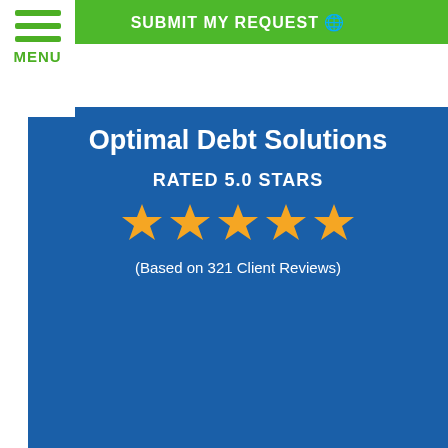[Figure (screenshot): Green submit button at top with text SUBMIT MY REQUEST and globe icon]
[Figure (logo): Hamburger menu icon with three green lines and MENU text in green on white background]
Optimal Debt Solutions
RATED 5.0 STARS
[Figure (infographic): Five gold/yellow star rating icons on blue background]
(Based on 321 Client Reviews)
Client Review
Highly recommended.
[Figure (infographic): Five gold/yellow star rating icons for individual review]
... read more
- Gregory Gary III
[Figure (infographic): Green circular phone button and green circular email/envelope button]
Services